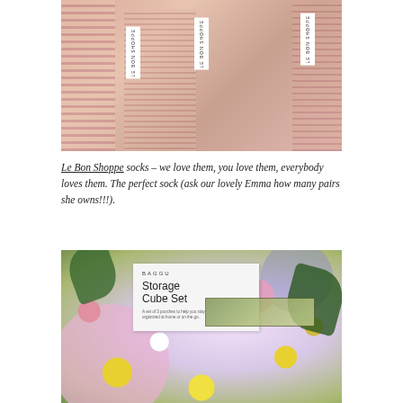[Figure (photo): Close-up photo of Le Bon Shoppe socks in pink and cream tones with stripes, showing white paper labels with 'LE BON SHOPPE' text]
Le Bon Shoppe socks – we love them, you love them, everybody loves them. The perfect sock (ask our lovely Emma how many pairs she owns!!!).
[Figure (photo): Photo of BAGGU Storage Cube Set packaging label on top of colorful floral print fabric bags in yellow, green, pink and blue]